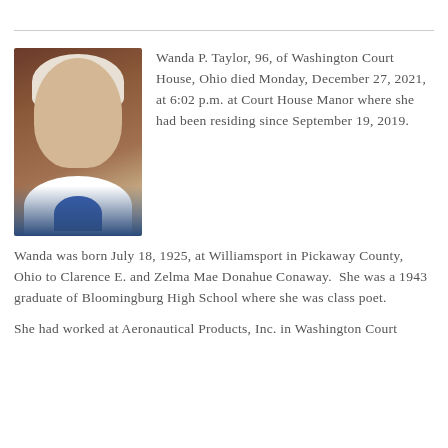[Figure (photo): Portrait photo of Wanda P. Taylor, an elderly woman with short white hair and glasses, wearing a white collared shirt and blue top, smiling.]
Wanda P. Taylor, 96, of Washington Court House, Ohio died Monday, December 27, 2021, at 6:02 p.m. at Court House Manor where she had been residing since September 19, 2019.
Wanda was born July 18, 1925, at Williamsport in Pickaway County, Ohio to Clarence E. and Zelma Mae Donahue Conaway.  She was a 1943 graduate of Bloomingburg High School where she was class poet.
She had worked at Aeronautical Products, Inc. in Washington Court